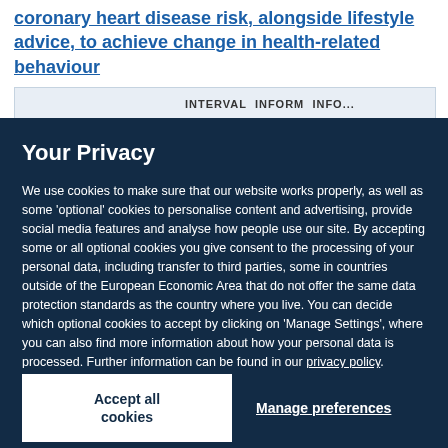communicating different approaches to information about coronary heart disease risk, alongside lifestyle advice, to achieve change in health-related behaviour
Your Privacy
We use cookies to make sure that our website works properly, as well as some 'optional' cookies to personalise content and advertising, provide social media features and analyse how people use our site. By accepting some or all optional cookies you give consent to the processing of your personal data, including transfer to third parties, some in countries outside of the European Economic Area that do not offer the same data protection standards as the country where you live. You can decide which optional cookies to accept by clicking on 'Manage Settings', where you can also find more information about how your personal data is processed. Further information can be found in our privacy policy.
Accept all cookies
Manage preferences